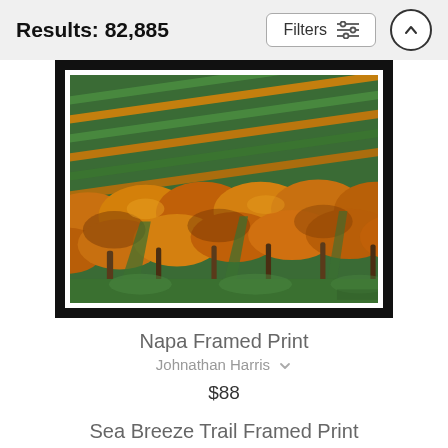Results: 82,885
[Figure (screenshot): Filters button with sliders icon and up-arrow circle button]
[Figure (illustration): Napa vineyard framed print artwork showing rows of autumn-colored vines with orange and green foliage, framed in black]
Napa Framed Print
Johnathan Harris
$88
Sea Breeze Trail Framed Print